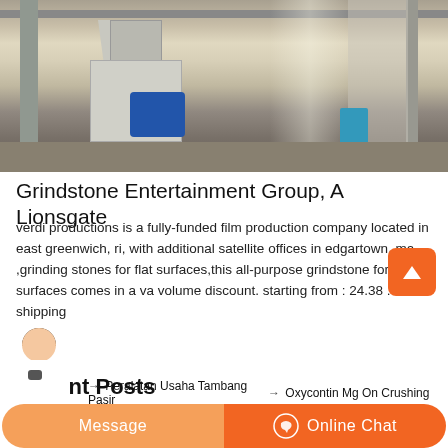[Figure (photo): Industrial machinery inside a warehouse — a large milling or grinding machine with a blue electric motor, metal structures, pillars, and a corrugated roof with natural light coming through]
Grindstone Entertainment Group, A Lionsgate
verdi productions is a fully-funded film production company located in east greenwich, ri, with additional satellite offices in edgartown, ma, ,grinding stones for flat surfaces,this all-purpose grindstone for level surfaces comes in a va volume discount. starting from : 24.38 . min. shipping
Recent Posts
→ Peralatan Usaha Tambang Pasir
→ Oxycontin Mg On Crushing